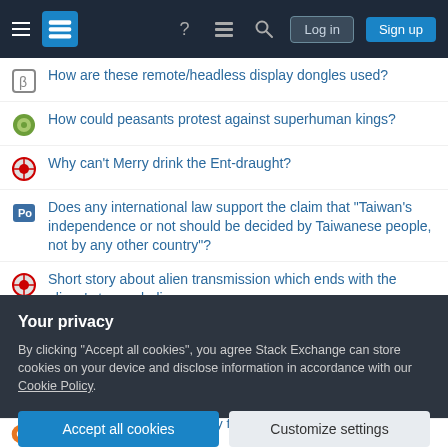Stack Exchange navigation bar with Log in and Sign up buttons
How are these remote/headless display dongles used?
How could peasants protest against superhuman kings?
Why can't Merry drink the Ent-draught?
Does any international law support the claim that "Taiwan's independence or not should be decided by Taiwanese people, not by any other country"?
Short story about alien transmission which ends with the aliens' star exploding
An algorithm to find even sublime numbers
Reconciling James 1:26 and James 3:8
Your privacy
By clicking "Accept all cookies", you agree Stack Exchange can store cookies on your device and disclose information in accordance with our Cookie Policy.
Accept all cookies | Customize settings
How can I (Indian, 28) visit my fiance (pursuing MS in US) for a few